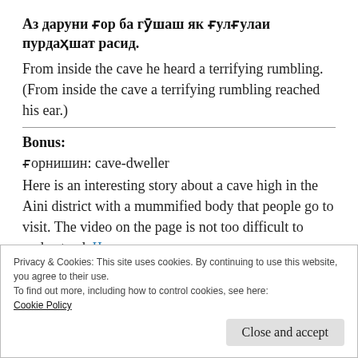Аз даруни ғор ба гӯшаш як ғулғулаи пурдаҳшат расид.
From inside the cave he heard a terrifying rumbling. (From inside the cave a terrifying rumbling reached his ear.)
Bonus:
ғорнишин: cave-dweller
Here is an interesting story about a cave high in the Aini district with a mummified body that people go to visit. The video on the page is not too difficult to understand. Часади дар ғор
Privacy & Cookies: This site uses cookies. By continuing to use this website, you agree to their use.
To find out more, including how to control cookies, see here:
Cookie Policy